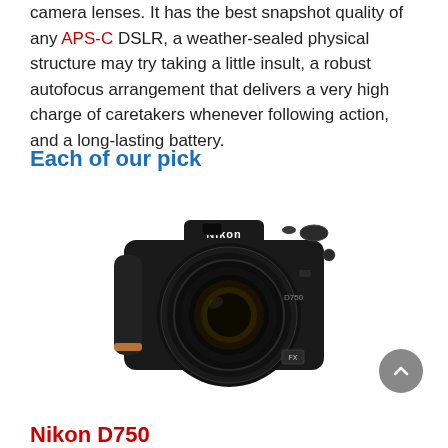camera lenses. It has the best snapshot quality of any APS-C DSLR, a weather-sealed physical structure may try taking a little insult, a robust autofocus arrangement that delivers a very high charge of caretakers whenever following action, and a long-lasting battery.
Each of our pick
[Figure (photo): Nikon D750 DSLR camera with lens, front view on white background]
Nikon D750